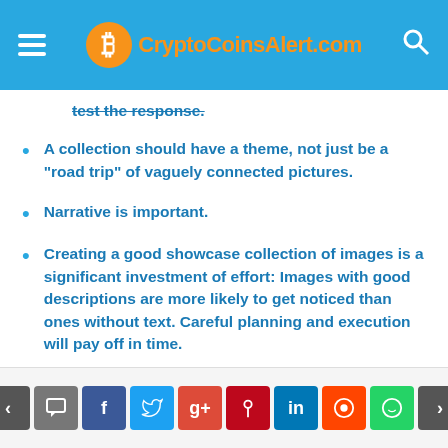CryptoCoinsAlert.com
test the response.
A collection should have a theme, not just be a “road trip” of vaguely connected pictures.
Narrative is important.
Creating a good showcase collection of images is a significant investment of effort: Images with good descriptions are more likely to get noticed than ones without text. Careful planning and execution will pay off in time.
Navigation and social share buttons